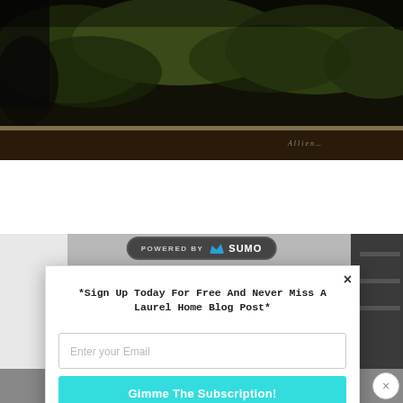[Figure (photo): Dark photograph showing greenery and foliage viewed through or behind what appears to be a framed panel or window with a dark wooden ledge]
[Figure (screenshot): Email subscription popup modal with 'POWERED BY SUMO' badge at top, close X button, title '*Sign Up Today For Free And Never Miss A Laurel Home Blog Post*', email input field, and teal 'Gimme The Subscription!' button. Background shows a partial room interior photo.]
*Sign Up Today For Free And Never Miss A Laurel Home Blog Post*
Enter your Email
Gimme The Subscription!